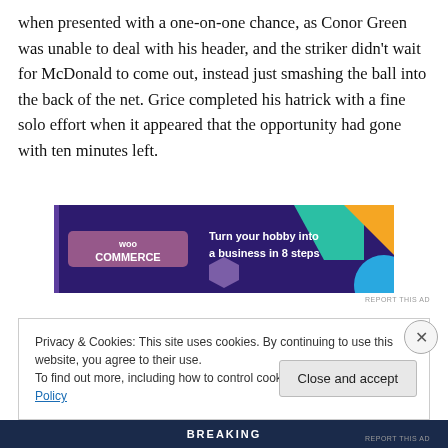when presented with a one-on-one chance, as Conor Green was unable to deal with his header, and the striker didn't wait for McDonald to come out, instead just smashing the ball into the back of the net. Grice completed his hatrick with a fine solo effort when it appeared that the opportunity had gone with ten minutes left.
[Figure (other): WooCommerce advertisement banner: dark purple/navy background with colored geometric shapes, WooCommerce logo on left, text 'Turn your hobby into a business in 8 steps' on right]
REPORT THIS AD
Privacy & Cookies: This site uses cookies. By continuing to use this website, you agree to their use.
To find out more, including how to control cookies, see here: Cookie Policy